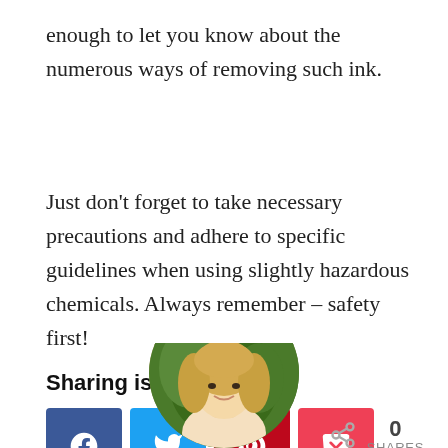enough to let you know about the numerous ways of removing such ink.
Just don't forget to take necessary precautions and adhere to specific guidelines when using slightly hazardous chemicals. Always remember – safety first!
Sharing is caring!
[Figure (infographic): Social share buttons: Facebook (blue), Twitter (light blue), Pinterest (red), Pocket (pink/red). Share count showing 0 SHARES with share icon on the right.]
[Figure (photo): Circular cropped photo of a blonde woman outdoors, partially visible at the bottom of the page.]